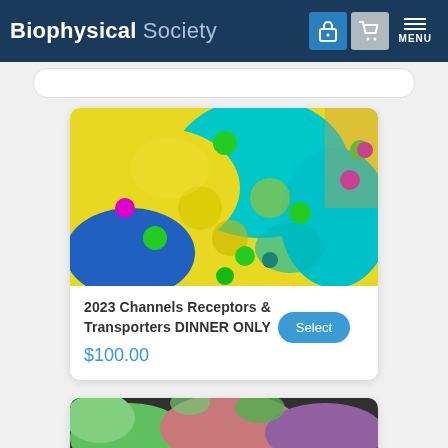Biophysical Society
[Figure (photo): Molecular visualization showing protein structures in yellow and cyan with green and magenta spherical ions/atoms, and a blue protein domain, representing channels, receptors and transporters]
2023 Channels Receptors & Transporters DINNER ONLY
$100.00
[Figure (photo): Partial view of another molecular/protein structure visualization in green, pink and purple colors]